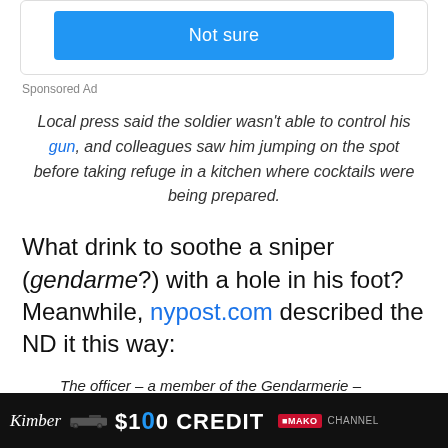[Figure (screenshot): Blue 'Not sure' button inside a rounded card box]
Sponsored Ad
Local press said the soldier wasn't able to control his gun, and colleagues saw him jumping on the spot before taking refuge in a kitchen where cocktails were being prepared.
What drink to soothe a sniper (gendarme?) with a hole in his foot? Meanwhile, nypost.com described the ND it this way:
The officer – a member of the Gendarmerie – apparently left his gun's safety off and it fired.
[Figure (screenshot): Advertisement banner: $100 Credit MAKO channel ad with gun image]